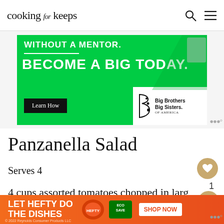cooking for keeps
[Figure (infographic): Green ad banner for Big Brothers Big Sisters of America: 'WITHOUT A MENTOR. BECOME A BIG TODAY.' with Learn How button and Big Brothers Big Sisters logo]
Panzanella Salad
Serves 4
4 cups assorted tomatoes chopped in large but bite size pieces(preferably heirloom va...
[Figure (infographic): Orange bottom ad banner: LET HEFTY DO THE DISHES - EcoSave - SHOP NOW. © 2022 Reynolds Consumer Products LLC]